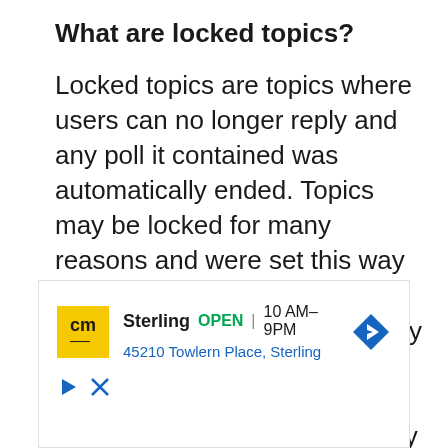What are locked topics?
Locked topics are topics where users can no longer reply and any poll it contained was automatically ended. Topics may be locked for many reasons and were set this way by either the forum moderator or board administrator. You may also be able to lock your own topics depending on the permissions you are granted by the board administrator
[Figure (other): Advertisement banner for a store. Shows 'cm' logo in yellow, text 'Sterling OPEN | 10AM-9PM' with address '45210 Towlern Place, Sterling', and a blue navigation arrow icon. Below are play and close buttons.]